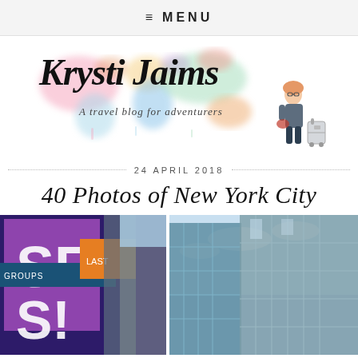≡ MENU
[Figure (logo): Krysti Jaims travel blog logo with watercolor world map background and cartoon character with luggage. Text reads 'Krysti Jaims - A travel blog for adventurers']
24 APRIL 2018
40 Photos of New York City
[Figure (photo): Two side-by-side photos of New York City: left shows Times Square with colorful billboards and signs including 'SES' and 'GROUPS'; right shows modern glass skyscrapers from below against a cloudy sky]